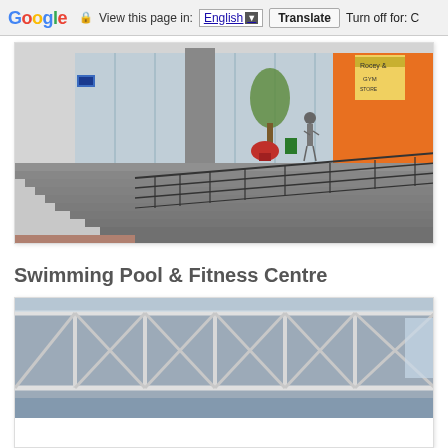Google | View this page in: English [▼] | Translate | Turn off for: C
[Figure (photo): Exterior concrete stairs with metal railings leading to a building entrance. A red potted plant, a green trash bin, and a person are visible near glass doors in the background. Colorful storefronts including a gym are visible on the right.]
Swimming Pool  & Fitness Centre
[Figure (photo): Interior structural steel roof truss of a large facility, likely a swimming pool or sports hall. White metal beams form triangular trusses. Natural light visible through the roof panels.]